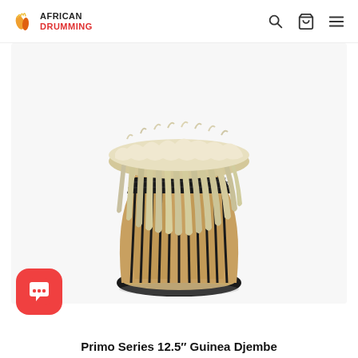African Drumming
[Figure (photo): A djembe drum with white/cream animal fur draped over the top drumhead. The drum body is tan/beige wood with black rope lacing and black netting around the top ring. The drum narrows at the neck and widens at the base, with a black ring at the bottom. White background.]
[Figure (other): Red rounded-square chat bubble icon with three white dots inside]
Primo Series 12.5" Guinea Djembe